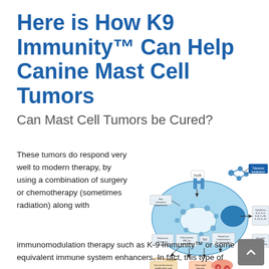Here is How K9 Immunity™ Can Help Canine Mast Cell Tumors
Can Mast Cell Tumors be Cured?
These tumors do respond very well to modern therapy, by using a combination of surgery or chemotherapy (sometimes radiation) along with
[Figure (illustration): Scientific diagram showing a mast cell with labeled components including FcεRI receptor, histamine/chymase/tryptase, chemokines/MIP-1α/lymphotactin, TNF, histamine/leukotrienes/prostaglandins, cytokines (IL-4, IL-5, IL-8, IL-10, IL-13, IL-19), vascular adhesion/permeability, connective tissue proliferation and remodeling, neutrophil homing/activation, and tolerance breakdown labels.]
immunomodulation therapy such as K-9 Immunity™ or some equivalent immune system enhancers. In fact, this type of